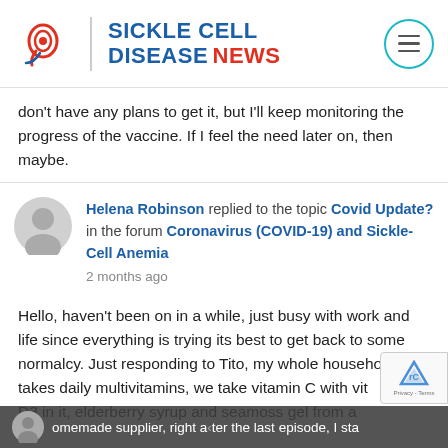[Figure (logo): Sickle Cell Disease News logo with red spiral cell icon and blue/red text]
don't have any plans to get it, but I'll keep monitoring the progress of the vaccine. If I feel the need later on, then maybe.
Helena Robinson replied to the topic Covid Update? in the forum Coronavirus (COVID-19) and Sickle-Cell Anemia
2 months ago
Hello, haven't been on in a while, just busy with work and life since everything is trying its best to get back to some normalcy. Just responding to Tito, my whole household takes daily multivitamins, we take vitamin C with vit D3 in it, elderberry syrup and seamoss gel from a homemade supplier, right after the last episode, I sta taking.